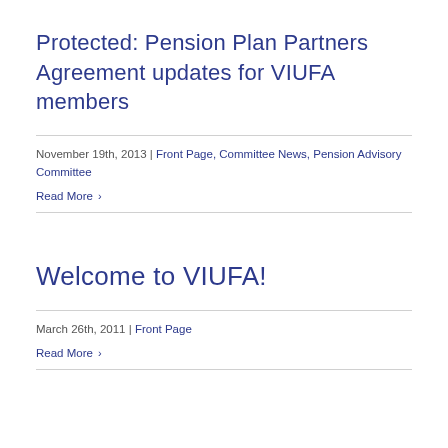Protected: Pension Plan Partners Agreement updates for VIUFA members
November 19th, 2013 | Front Page, Committee News, Pension Advisory Committee
Read More ›
Welcome to VIUFA!
March 26th, 2011 | Front Page
Read More ›